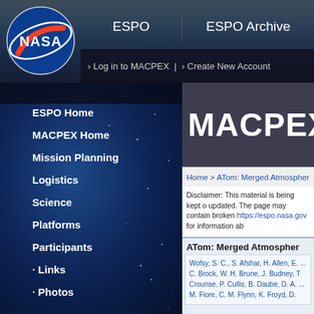[Figure (screenshot): NASA ESPO MACPEX website screenshot showing NASA logo, navigation header with ESPO and ESPO Archive links, login bar, left sidebar navigation menu with blue starfield background, and right content area with MACPEX title, breadcrumb, disclaimer text, and ATom dataset entry with author list.]
ESPO | ESPO Archive | › Log in to MACPEX | › Create New Account
ESPO Home
MACPEX Home
Mission Planning
Logistics
Science
Platforms
Participants
Links
Photos
MACPEX
Home > ATom: Merged Atmospheric C
Disclaimer: This material is being kept o updated. The page may contain broken https://espo.nasa.gov for information ab
ATom: Merged Atmospher
Wofsy, S. C., S. Afshar, H. Allen, E. ... C. Brock, W. H. Brune, J. Budney, T Crounse, P. Cullis, B. Daube, D. A. ... M. Fiore, C. M. Flynn, K. Froyd, D.